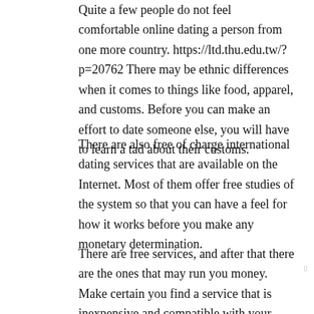Quite a few people do not feel comfortable online dating a person from one more country. https://ltd.thu.edu.tw/?p=20762 There may be ethnic differences when it comes to things like food, apparel, and customs. Before you can make an effort to date someone else, you will have to learn a tad about their customs.
There are also free of charge international dating services that are available on the Internet. Most of them offer free studies of the system so that you can have a feel for how it works before you make any monetary determination.
There are free services, and after that there are the ones that may run you money. Make certain you find a service that is inexpensive and compatible with your way of life and needs. |is parked ,|the particular|varied|the actual|various} You will also desire to find a dating service that allows...